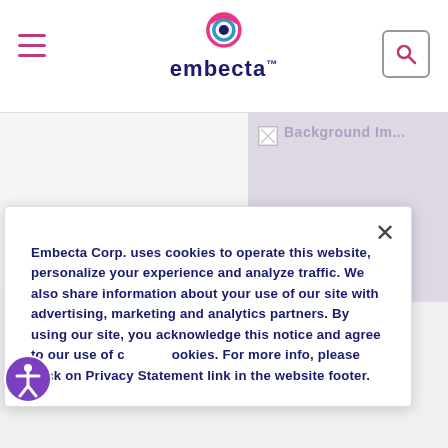embecta
[Figure (illustration): Split background area: left half is light gray, right half shows a broken image icon and partial text 'Background Image']
Embecta Corp. uses cookies to operate this website, personalize your experience and analyze traffic. We also share information about your use of our site with advertising, marketing and analytics partners. By using our site, you acknowledge this notice and agree to our use of cookies. For more info, please click on Privacy Statement link in the website footer.